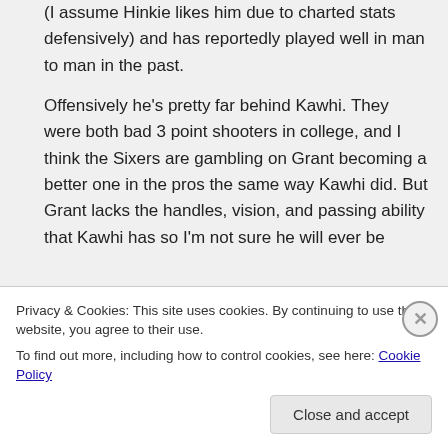(I assume Hinkie likes him due to charted stats defensively) and has reportedly played well in man to man in the past.
Offensively he's pretty far behind Kawhi. They were both bad 3 point shooters in college, and I think the Sixers are gambling on Grant becoming a better one in the pros the same way Kawhi did. But Grant lacks the handles, vision, and passing ability that Kawhi has so I'm not sure he will ever be
Privacy & Cookies: This site uses cookies. By continuing to use this website, you agree to their use.
To find out more, including how to control cookies, see here: Cookie Policy